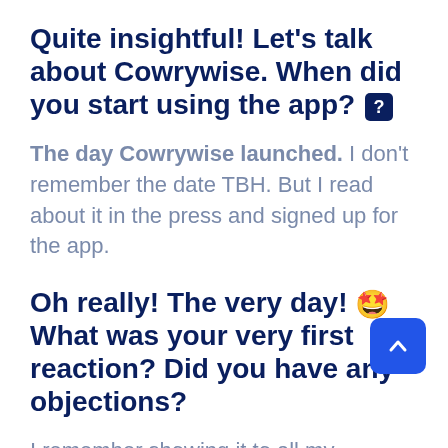Quite insightful! Let's talk about Cowrywise. When did you start using the app? [?]
The day Cowrywise launched. I don't remember the date TBH. But I read about it in the press and signed up for the app.
Oh really! The very day! 🤩 What was your very first reaction? Did you have any objections?
I remember showing it to all my colleagues because it was so beautiful. Absolutely loved it. But then, you couldn't break your plans. That was